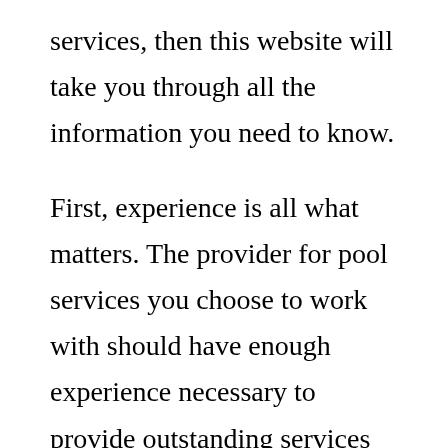services, then this website will take you through all the information you need to know.
First, experience is all what matters. The provider for pool services you choose to work with should have enough experience necessary to provide outstanding services which you need. You should therefore check how many similar jobs the provider for pool services has accomplished. This will be determined by the longevity of the provider for pool services in this field. So, find...